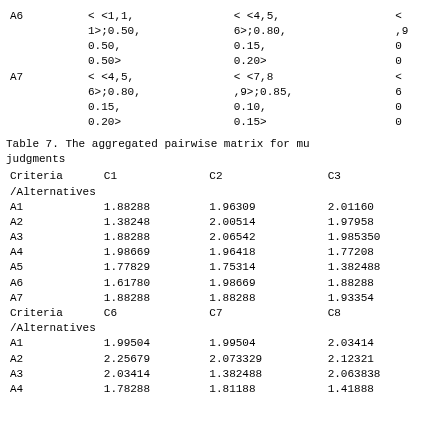|  | C1/C2/C3 columns |
| --- | --- |
| A6 | < <1,1,
1>;0.50,
0.50,
0.50> | < <4,5,
6>;0.80,
0.15,
0.20> | < ... |
| A7 | < <4,5,
6>;0.80,
0.15,
0.20> | < <7,8
,9>;0.85,
0.10,
0.15> | < ...
67... |
Table 7. The aggregated pairwise matrix for multiple judgments
| Criteria /Alternatives | C1 | C2 | C3 |
| --- | --- | --- | --- |
| A1 | 1.88288 | 1.96309 | 2.01160 |
| A2 | 1.38248 | 2.00514 | 1.97958 |
| A3 | 1.88288 | 2.06542 | 1.985350 |
| A4 | 1.98669 | 1.96418 | 1.77208 |
| A5 | 1.77829 | 1.75314 | 1.382488 |
| A6 | 1.61780 | 1.98669 | 1.88288 |
| A7 | 1.88288 | 1.88288 | 1.93354 |
| Criteria /Alternatives | C6 | C7 | C8 |
| A1 | 1.99504 | 1.99504 | 2.03414 |
| A2 | 2.25679 | 2.073329 | 2.12321 |
| A3 | 2.03414 | 1.382488 | 2.063838 |
| A4 | 1.78288 | 1.81188 | 1.41888 |